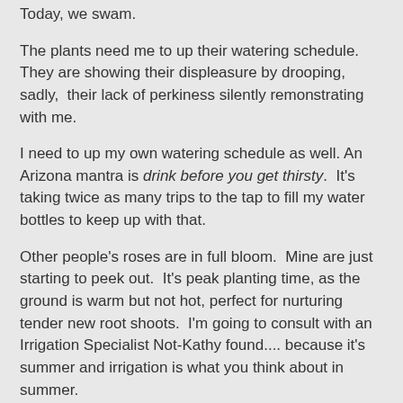Today, we swam.
The plants need me to up their watering schedule.  They are showing their displeasure by drooping, sadly,  their lack of perkiness silently remonstrating with me.
I need to up my own watering schedule as well. An Arizona mantra is drink before you get thirsty.  It's taking twice as many trips to the tap to fill my water bottles to keep up with that.
Other people's roses are in full bloom.  Mine are just starting to peek out.  It's peak planting time, as the ground is warm but not hot, perfect for nurturing tender new root shoots.  I'm going to consult with an Irrigation Specialist Not-Kathy found.... because it's summer and irrigation is what you think about in summer.
I'm wondering where my sandals are, and looking askance at the sweaters that are crowding the most convenient cubbies in my closet.  My dark t-shirts don't beckon the way they did just a very short time ago; pale green and bright yellow make me smile.